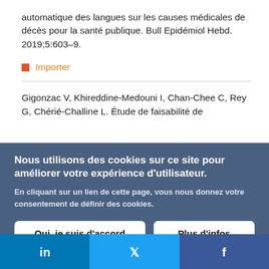automatique des langues sur les causes médicales de décès pour la santé publique. Bull Epidémiol Hebd. 2019;5:603–9.
Importer
Gigonzac V, Khireddine-Medouni I, Chan-Chee C, Rey G, Chérié-Challine L. Étude de faisabilité de
Nous utilisons des cookies sur ce site pour améliorer votre expérience d'utilisateur.
En cliquant sur un lien de cette page, vous nous donnez votre consentement de définir des cookies.
Oui, je suis d'accord
Plus d'infos
[Figure (other): Social media share bar with LinkedIn, Twitter, and Facebook icons]